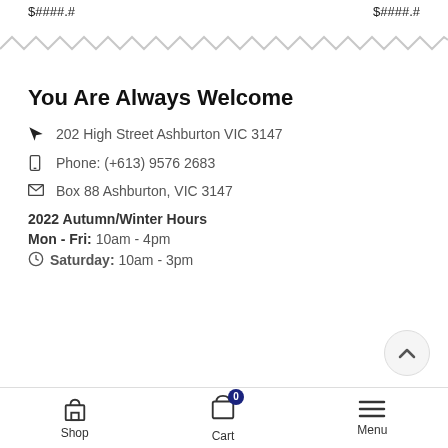$##### $#####
[Figure (other): Zigzag/wavy decorative divider line]
You Are Always Welcome
202 High Street Ashburton VIC 3147
Phone: (+613) 9576 2683
Box 88 Ashburton, VIC 3147
2022 Autumn/Winter Hours
Mon - Fri: 10am - 4pm
Saturday: 10am - 3pm
Shop | Cart 0 | Menu